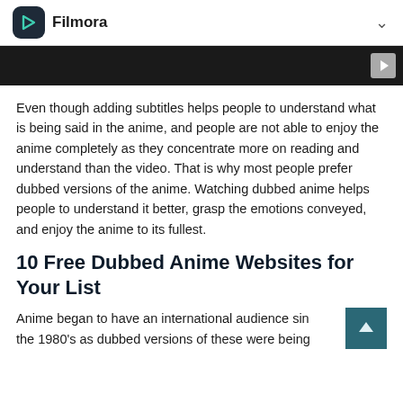Filmora
[Figure (screenshot): Dark video player bar with a play button on the right side]
Even though adding subtitles helps people to understand what is being said in the anime, and people are not able to enjoy the anime completely as they concentrate more on reading and understand than the video. That is why most people prefer dubbed versions of the anime. Watching dubbed anime helps people to understand it better, grasp the emotions conveyed, and enjoy the anime to its fullest.
10 Free Dubbed Anime Websites for Your List
Anime began to have an international audience since the 1980's as dubbed versions of these were being